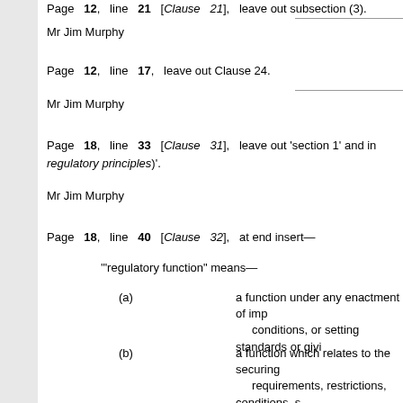Page 12, line 21, [Clause 21], leave out subsection (3).
Mr Jim Murphy
Page 12, line 17, leave out Clause 24.
Mr Jim Murphy
Page 18, line 33 [Clause 31], leave out 'section 1' and insert 'section 1 (regulatory principles)'.
Mr Jim Murphy
Page 18, line 40 [Clause 32], at end insert—
'"regulatory function" means—
(a) a function under any enactment of imposing requirements or conditions, or setting standards or giving approvals—
(b) a function which relates to the securing of compliance with requirements, restrictions, conditions, standards or approvals—